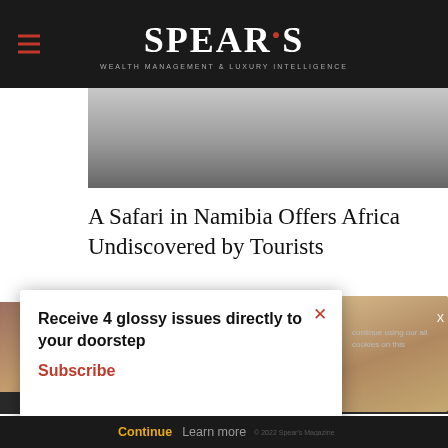SPEAR'S
[Figure (photo): Hero image area, gray gradient background representing a partially visible photograph]
A Safari in Namibia Offers Africa Undiscovered by Tourists
[Figure (photo): Bottom section with two partially visible photographs behind a subscription popup overlay]
Receive 4 glossy issues directly to your doorstep Subscribe
continue using our all cookies on this
Continue   Learn more   © 2022 Spear's Magazine